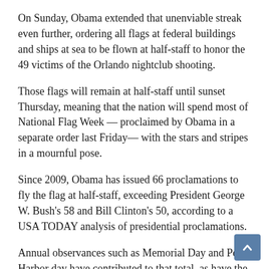On Sunday, Obama extended that unenviable streak even further, ordering all flags at federal buildings and ships at sea to be flown at half-staff to honor the 49 victims of the Orlando nightclub shooting.
Those flags will remain at half-staff until sunset Thursday, meaning that the nation will spend most of National Flag Week — proclaimed by Obama in a separate order last Friday— with the stars and stripes in a mournful pose.
Since 2009, Obama has issued 66 proclamations to fly the flag at half-staff, exceeding President George W. Bush's 58 and Bill Clinton's 50, according to a USA TODAY analysis of presidential proclamations.
Annual observances such as Memorial Day and Pearl Harbor day have contributed to that total, as have the deaths of notable public figures like Sen. Robert Byrd, Sen. Ted Kennedy, former first lady Nancy Reagan and Supreme Court Justice Antonin Scalia.